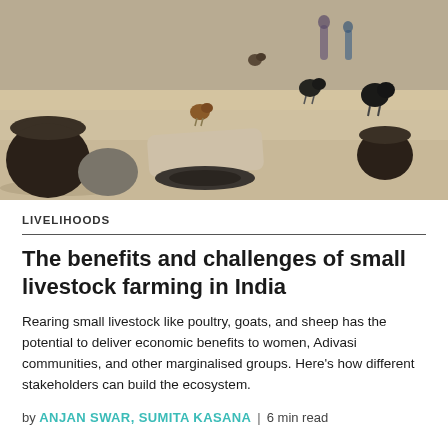[Figure (photo): Photograph of a rural farm yard in India showing chickens and birds walking on sandy ground, with large black baskets, stones, and a flat stone/tyre in the foreground, and people visible in the background]
LIVELIHOODS
The benefits and challenges of small livestock farming in India
Rearing small livestock like poultry, goats, and sheep has the potential to deliver economic benefits to women, Adivasi communities, and other marginalised groups. Here’s how different stakeholders can build the ecosystem.
by ANJAN SWAR, SUMITA KASANA | 6 min read